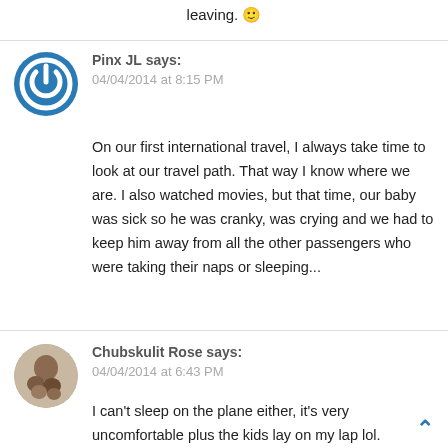leaving. 🙂
[Figure (logo): Blue circular power button icon avatar for Pinx JL]
Pinx JL says:
04/04/2014 at 8:15 PM
On our first international travel, I always take time to look at our travel path. That way I know where we are. I also watched movies, but that time, our baby was sick so he was cranky, was crying and we had to keep him away from all the other passengers who were taking their naps or sleeping...
[Figure (photo): Profile photo of Chubskulit Rose showing a woman with two children]
Chubskulit Rose says:
04/04/2014 at 6:43 PM
I can't sleep on the plane either, it's very uncomfortable plus the kids lay on my lap lol.